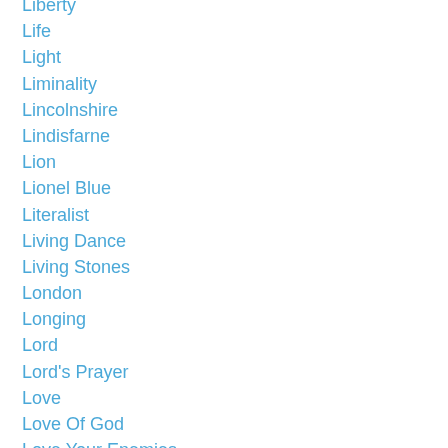Liberty
Life
Light
Liminality
Lincolnshire
Lindisfarne
Lion
Lionel Blue
Literalist
Living Dance
Living Stones
London
Longing
Lord
Lord's Prayer
Love
Love Of God
Love Your Enemies
Luke
Luther
Macrina